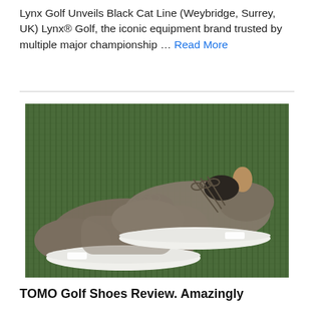Lynx Golf Unveils Black Cat Line (Weybridge, Surrey, UK) Lynx® Golf, the iconic equipment brand trusted by multiple major championship … Read More
[Figure (photo): A pair of brown/taupe knit golf shoes with white soles, lace-up style, placed on green grass turf, photographed from above at an angle.]
TOMO Golf Shoes Review. Amazingly